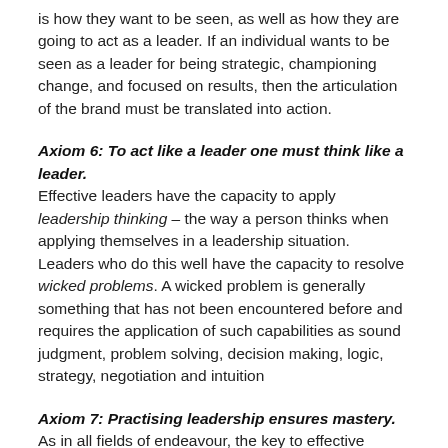is how they want to be seen, as well as how they are going to act as a leader. If an individual wants to be seen as a leader for being strategic, championing change, and focused on results, then the articulation of the brand must be translated into action.
Axiom 6: To act like a leader one must think like a leader.
Effective leaders have the capacity to apply leadership thinking – the way a person thinks when applying themselves in a leadership situation. Leaders who do this well have the capacity to resolve wicked problems. A wicked problem is generally something that has not been encountered before and requires the application of such capabilities as sound judgment, problem solving, decision making, logic, strategy, negotiation and intuition
Axiom 7: Practising leadership ensures mastery.
As in all fields of endeavour, the key to effective leadership is practice. A measure of a leader's effectiveness is the extent to which he or she achieves